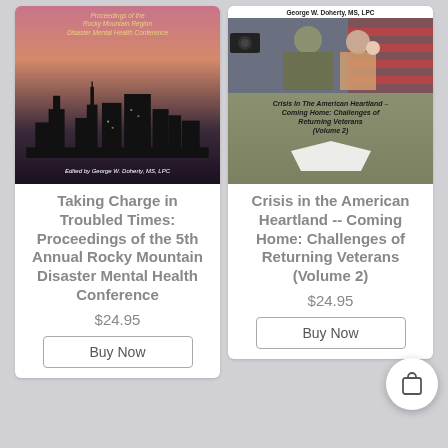[Figure (photo): Book cover for 'Taking Charge in Troubled Times: Proceedings of the 5th Annual Rocky Mountain Disaster Mental Health Conference'. Dark city skyline silhouette against pink/purple sunset sky. Text 'Edited by George W. Doherty, MS, LPC' at bottom.]
[Figure (photo): Book cover for 'Crisis in the American Heartland -- Coming Home: Challenges of Returning Veterans (Volume 2)'. Author George W. Doherty, MS, LPC. Photo of military soldier with woman and baby. Gray/olive background with book title text.]
Taking Charge in Troubled Times: Proceedings of the 5th Annual Rocky Mountain Disaster Mental Health Conference
Crisis in the American Heartland -- Coming Home: Challenges of Returning Veterans (Volume 2)
$24.95
$24.95
Buy Now
Buy Now